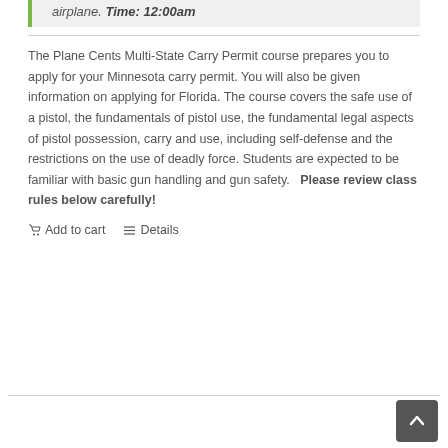airplane. Time: 12:00am
The Plane Cents Multi-State Carry Permit course prepares you to apply for your Minnesota carry permit. You will also be given information on applying for Florida. The course covers the safe use of a pistol, the fundamentals of pistol use, the fundamental legal aspects of pistol possession, carry and use, including self-defense and the restrictions on the use of deadly force. Students are expected to be familiar with basic gun handling and gun safety.  Please review class rules below carefully!
Add to cart  Details